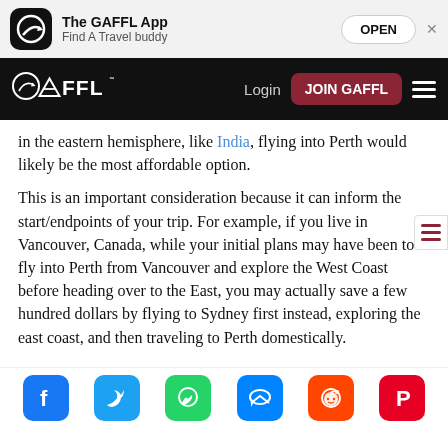[Figure (screenshot): App store banner for The GAFFL App with icon, name, tagline and OPEN button]
GAFFL navigation bar with Login and JOIN GAFFL buttons
in the eastern hemisphere, like India, flying into Perth would likely be the most affordable option.
This is an important consideration because it can inform the start/endpoints of your trip. For example, if you live in Vancouver, Canada, while your initial plans may have been to fly into Perth from Vancouver and explore the West Coast before heading over to the East, you may actually save a few hundred dollars by flying to Sydney first instead, exploring the east coast, and then traveling to Perth domestically.
Social share bar: Facebook, Twitter, WhatsApp, Messenger, Reddit, Pinterest